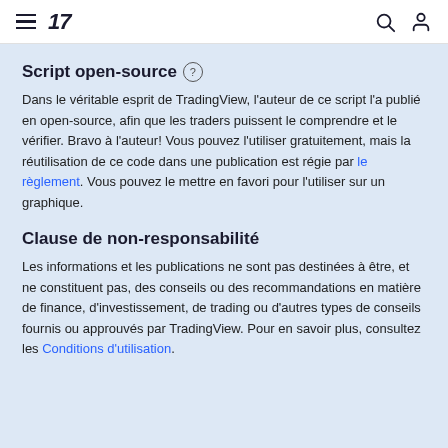TradingView
Script open-source
Dans le véritable esprit de TradingView, l'auteur de ce script l'a publié en open-source, afin que les traders puissent le comprendre et le vérifier. Bravo à l'auteur! Vous pouvez l'utiliser gratuitement, mais la réutilisation de ce code dans une publication est régie par le règlement. Vous pouvez le mettre en favori pour l'utiliser sur un graphique.
Clause de non-responsabilité
Les informations et les publications ne sont pas destinées à être, et ne constituent pas, des conseils ou des recommandations en matière de finance, d'investissement, de trading ou d'autres types de conseils fournis ou approuvés par TradingView. Pour en savoir plus, consultez les Conditions d'utilisation.